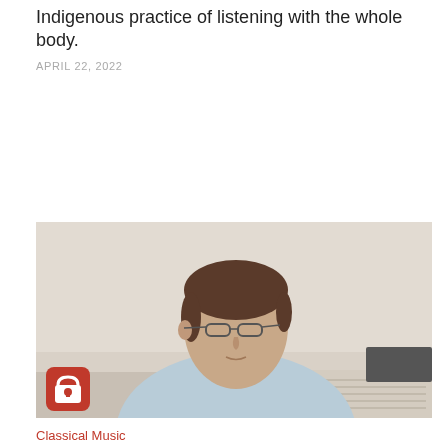Indigenous practice of listening with the whole body.
APRIL 22, 2022
[Figure (photo): A middle-aged man with dark hair and glasses wearing a light blue shirt, sitting at a desk with sheet music or documents in front of him, against a light beige wall. A red lock badge icon appears in the bottom-left corner of the image.]
Classical Music